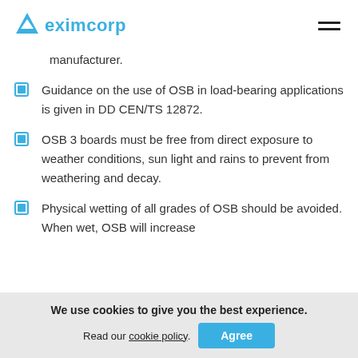eximcorp
manufacturer.
Guidance on the use of OSB in load-bearing applications is given in DD CEN/TS 12872.
OSB 3 boards must be free from direct exposure to weather conditions, sun light and rains to prevent from weathering and decay.
Physical wetting of all grades of OSB should be avoided. When wet, OSB will increase
We use cookies to give you the best experience. Read our cookie policy.
Agree